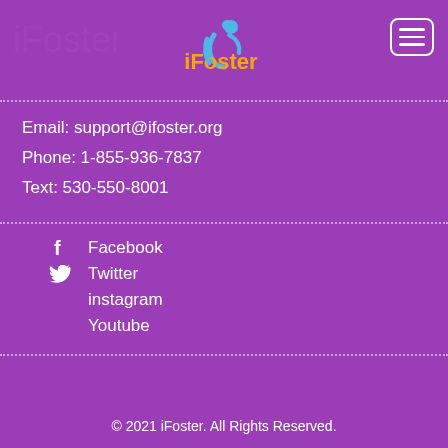[Figure (logo): iFoster logo with blue swoosh figure and orange 'iFoster' text, centered in header]
Email: support@ifoster.org
Phone: 1-855-936-7837
Text: 530-550-8001
Facebook
Twitter
instagram
Youtube
© 2021 iFoster. All Rights Reserved.